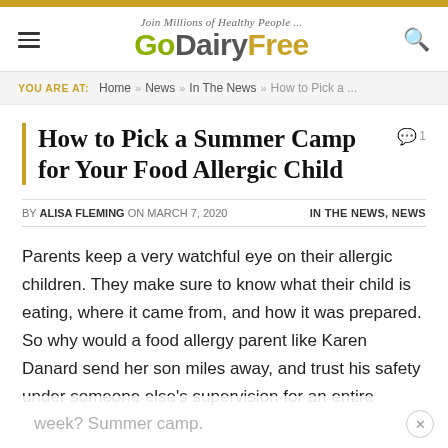Join Millions of Healthy People ... GoDairyFree
YOU ARE AT: Home » News » In The News » How to Pick a...
How to Pick a Summer Camp for Your Food Allergic Child
BY ALISA FLEMING ON MARCH 7, 2020  IN THE NEWS, NEWS
Parents keep a very watchful eye on their allergic children. They make sure to know what their child is eating, where it came from, and how it was prepared. So why would a food allergy parent like Karen Danard send her son miles away, and trust his safety under someone else's supervision for an entire week? Summer camp.